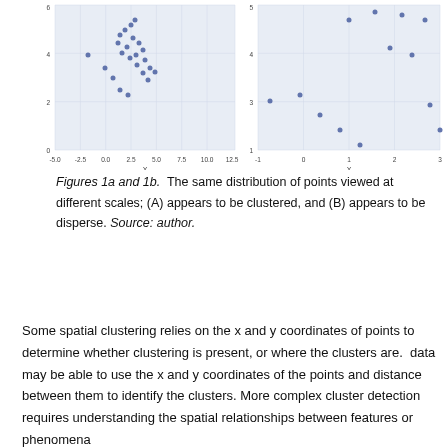[Figure (continuous-plot): Two scatter plots side by side (Figures 1a and 1b) showing the same distribution of points viewed at different scales. Left plot (A) shows clustered appearance with x-axis from -5.0 to 12.5 and y-axis 0 to 6. Right plot (B) shows dispersed appearance with x-axis from -1 to 3 and y-axis about 1 to 5.]
Figures 1a and 1b. The same distribution of points viewed at different scales; (A) appears to be clustered, and (B) appears to be disperse. Source: author.
Some spatial clustering relies on the x and y coordinates of points to determine whether clustering is present, or where the clusters are. data may be able to use the x and y coordinates of the points and distance between them to identify the clusters. More complex cluster detection requires understanding the spatial relationships between features or phenomena